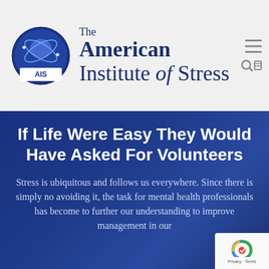[Figure (logo): The American Institute of Stress logo with a circular blue emblem showing a brain/head with orbital rings and AIS text below]
The American Institute of Stress
If Life Were Easy They Would Have Asked For Volunteers
Stress is ubiquitous and follows us everywhere. Since there is simply no avoiding it, the task for mental health professionals has become to further our understanding to improve management in our